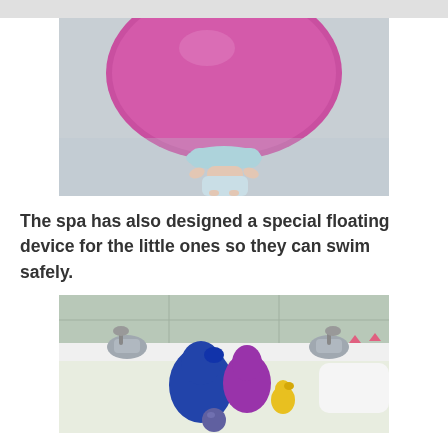[Figure (photo): Top-down view of a baby wearing a pink/magenta floating ring device around its head, supported in water wearing a diaper, seen from above against a light gray background.]
The spa has also designed a special floating device for the little ones so they can swim safely.
[Figure (photo): A bathtub edge with colorful rubber bath toys: a large blue duck, purple/magenta duck, small gray flower toy, small yellow duck. Silver faucet taps visible on left and right. White towel or bath pillow on right side.]